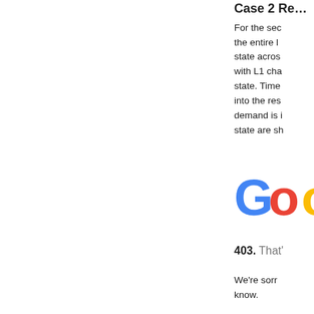Case 2 Re…
For the sec the entire l state acros with L1 cha state. Time into the res demand is i state are sh
[Figure (logo): Google logo showing 'Go' letters in blue, red, orange colors, partially visible]
403. That'
We're sorr know.